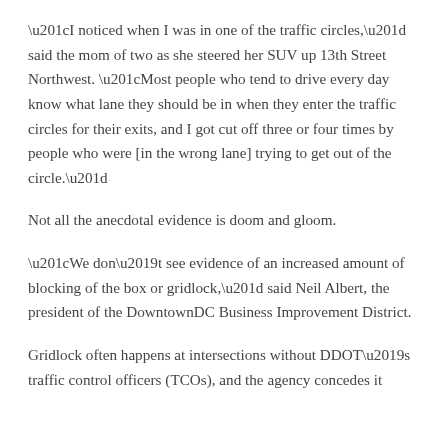“I noticed when I was in one of the traffic circles,” said the mom of two as she steered her SUV up 13th Street Northwest. “Most people who tend to drive every day know what lane they should be in when they enter the traffic circles for their exits, and I got cut off three or four times by people who were [in the wrong lane] trying to get out of the circle.”
Not all the anecdotal evidence is doom and gloom.
“We don’t see evidence of an increased amount of blocking of the box or gridlock,” said Neil Albert, the president of the DowntownDC Business Improvement District.
Gridlock often happens at intersections without DDOT’s traffic control officers (TCOs), and the agency concedes it